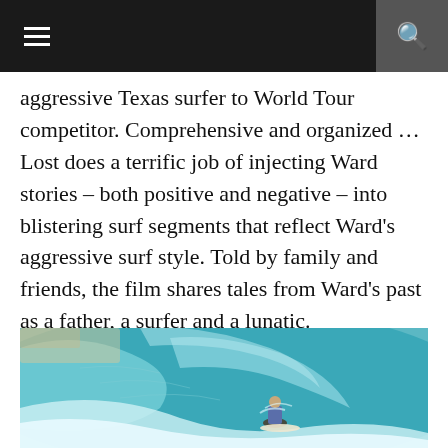navigation bar with hamburger menu and search icon
aggressive Texas surfer to World Tour competitor. Comprehensive and organized …Lost does a terrific job of injecting Ward stories – both positive and negative – into blistering surf segments that reflect Ward's aggressive surf style. Told by family and friends, the film shares tales from Ward's past as a father, a surfer and a lunatic.
[Figure (photo): Surfer riding inside a large turquoise wave barrel, photographed from inside the tube looking out, with sandy beach visible in the background]